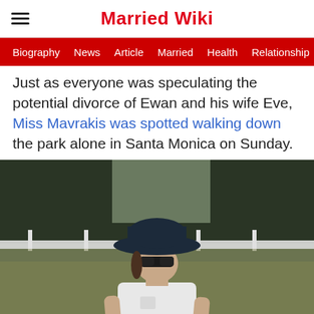Married Wiki
Biography  News  Article  Married  Health  Relationship  Ga
Just as everyone was speculating the potential divorce of Ewan and his wife Eve, Miss Mavrakis was spotted walking down the park alone in Santa Monica on Sunday.
[Figure (photo): A woman wearing a navy bucket hat, dark sunglasses, and a white t-shirt walking in a park in Santa Monica. There is a white fence and trees in the background.]